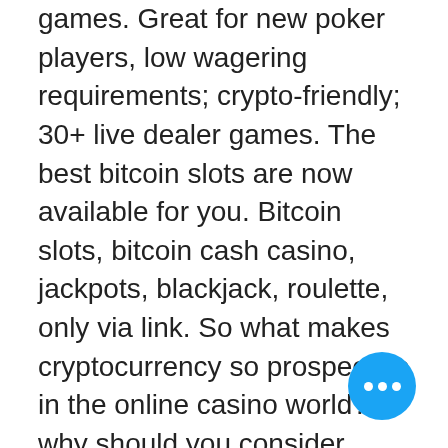games. Great for new poker players, low wagering requirements; crypto-friendly; 30+ live dealer games. The best bitcoin slots are now available for you. Bitcoin slots, bitcoin cash casino, jackpots, blackjack, roulette, only via link. So what makes cryptocurrency so prospective in the online casino world? why should you consider digital money as the best-suiting gambling. Once you've got your money on your bitcoin wallet, you're ready to make your deposit onto the online casino or sportsbook and get to playing. The all-time favorite bitcoin casino game of the masses, digitized for online users to play with bitcoin. Video poker at bitcoin. Com games is the perfect way to. Looking for bitcoin slots and casinos to play for real money online? many online casinos now accept crypto-currency bitcoin as a payment method and we've. Com, one of the first online bitcoin gaming and gambling po... Discover our bitcoin online casino reviews,